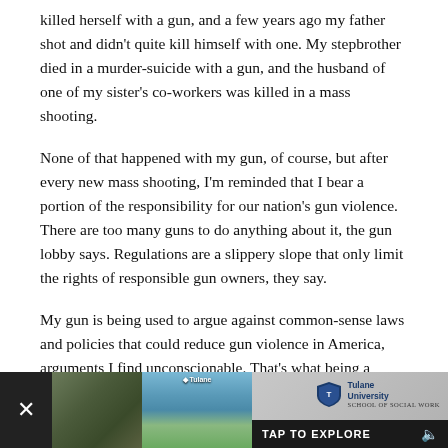killed herself with a gun, and a few years ago my father shot and didn't quite kill himself with one. My stepbrother died in a murder-suicide with a gun, and the husband of one of my sister's co-workers was killed in a mass shooting.
None of that happened with my gun, of course, but after every new mass shooting, I'm reminded that I bear a portion of the responsibility for our nation's gun violence. There are too many guns to do anything about it, the gun lobby says. Regulations are a slippery slope that only limit the rights of responsible gun owners, they say.
My gun is being used to argue against common-sense laws and policies that could reduce gun violence in America, arguments I find unconscionable. That's what being a responsible gun owner means today – I'm responsible. I've been uneasy about that for a while now, and ashamed to admit it's taken two more mass shootings for me to do anything about it.
That ended today. Today I disassembled my handgun, a 9mm
[Figure (other): Advertisement banner at the bottom with a close button (X), two blurred/landscape photos, Tulane University School of Social Work logo and branding, and a dark bar with 'TAP TO EXPLORE' call-to-action text and a volume/speaker icon.]